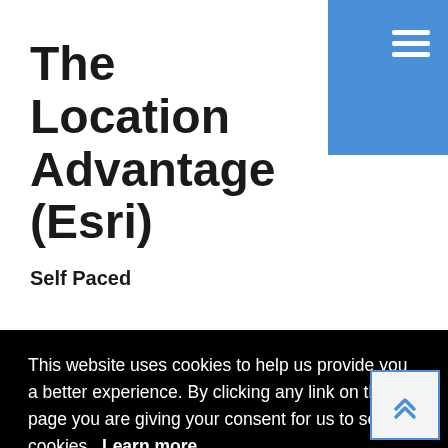The Location Advantage (Esri)
Self Paced
This website uses cookies to help us provide you a better experience. By clicking any link on this page you are giving your consent for us to set cookies. Learn more
Got it!